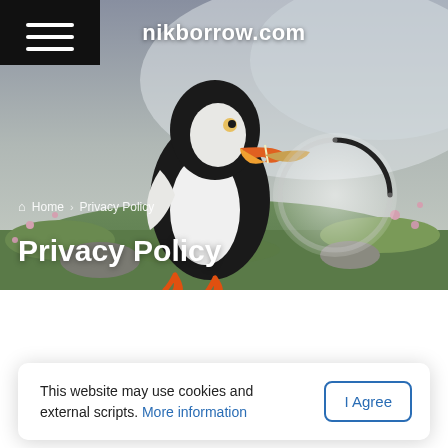[Figure (photo): Hero banner with a puffin bird standing on grass in foggy conditions, with website header nikborrow.com and a loading spinner overlay]
nikborrow.com
Home > Privacy Policy
Privacy Policy
Privacy Policy of Nik Borrow
This website may use cookies and external scripts. More information
I Agree